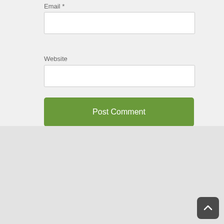Email *
Website
Post Comment
[Figure (logo): Peace Corps Writers circular logo with globe and PCW letters in blue, orange, and black on grey background]
Peace Corps Writers